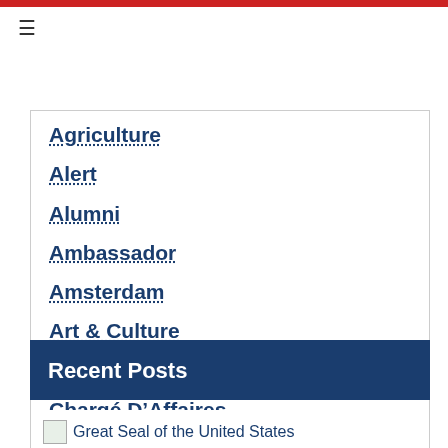Agriculture
Alert
Alumni
Ambassador
Amsterdam
Art & Culture
Business
Chargé D'Affaires
Show More ∨
Recent Posts
Great Seal of the United States